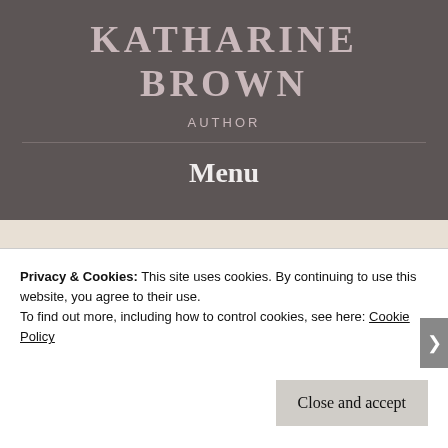KATHARINE BROWN
AUTHOR
Menu
Up in the sky! It’s a bird; it’s a plane; it’s flash
Privacy & Cookies: This site uses cookies. By continuing to use this website, you agree to their use.
To find out more, including how to control cookies, see here: Cookie Policy
Close and accept
Advertisements